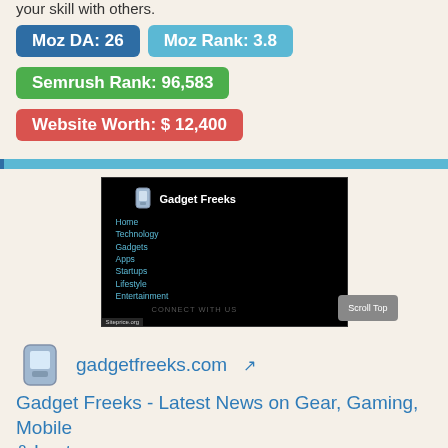your skill with others.
Moz DA: 26  Moz Rank: 3.8
Semrush Rank: 96,583
Website Worth: $ 12,400
[Figure (screenshot): Screenshot of gadgetfreeks.com showing black background site with logo, navigation menu items (Home, Technology, Gadgets, Apps, Startups, Lifestyle, Entertainment), CONNECT WITH US text, and siteprice.org watermark]
gadgetfreeks.com
Gadget Freeks - Latest News on Gear, Gaming, Mobile & Laptop